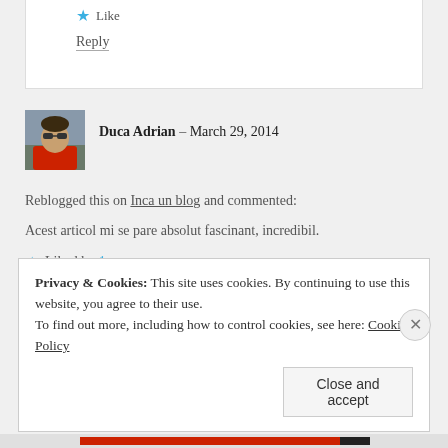Like
Reply
[Figure (photo): Avatar photo of Duca Adrian, a man wearing sunglasses and a red jacket, outdoors]
Duca Adrian – March 29, 2014
Reblogged this on Inca un blog and commented:
Acest articol mi se pare absolut fascinant, incredibil.
Liked by 1 person
Reply
Privacy & Cookies: This site uses cookies. By continuing to use this website, you agree to their use.
To find out more, including how to control cookies, see here: Cookie Policy
Close and accept